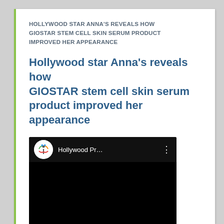HOLLYWOOD STAR ANNA'S REVEALS HOW GIOSTAR STEM CELL SKIN SERUM PRODUCT IMPROVED HER APPEARANCE
Hollywood star Anna's reveals how GIOSTAR stem cell skin serum product improved her appearance
[Figure (screenshot): Embedded video player showing Hollywood Pr... channel with circular logo (tree/human figure with red, green, orange colors on white background). Video content area is black. Three-dot menu icon visible.]